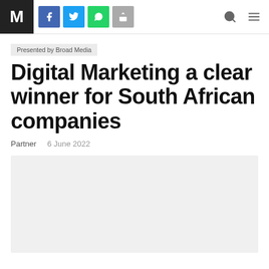M | Presented by Broad Media — navigation bar
Presented by Broad Media
Digital Marketing a clear winner for South African companies
Partner   6 June 2022
[Figure (photo): Large light grey image placeholder below the article metadata]